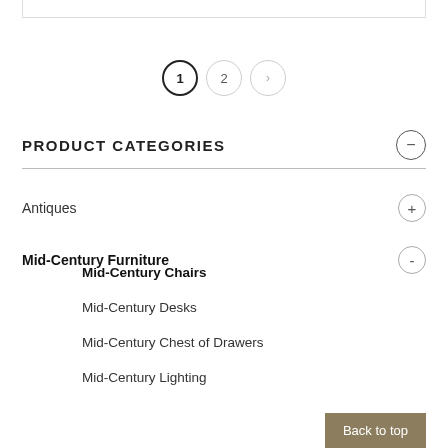[Figure (other): Top border box remnant from previous section]
1 2 ›
PRODUCT CATEGORIES
Antiques
Mid-Century Furniture
Mid-Century Chairs
Mid-Century Desks
Mid-Century Chest of Drawers
Mid-Century Lighting
Back to top